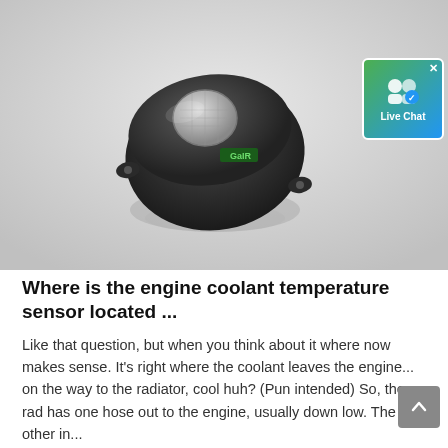[Figure (photo): A small black cylindrical engine coolant temperature sensor device with a logo label, photographed on a white/grey reflective surface. A Live Chat badge overlay is visible in the top-right corner.]
Where is the engine coolant temperature sensor located ...
Like that question, but when you think about it where now makes sense. It's right where the coolant leaves the engine... on the way to the radiator, cool huh? (Pun intended) So, the rad has one hose out to the engine, usually down low. The other in...